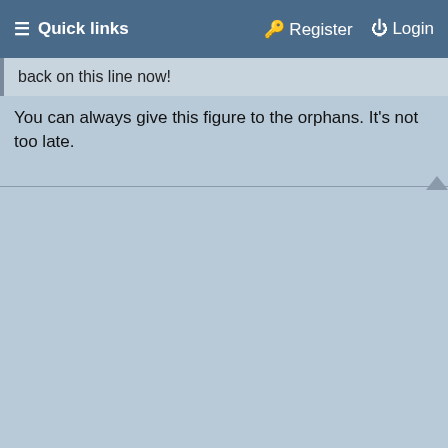≡ Quick links   Register   Login
back on this line now!
You can always give this figure to the orphans. It's not too late.